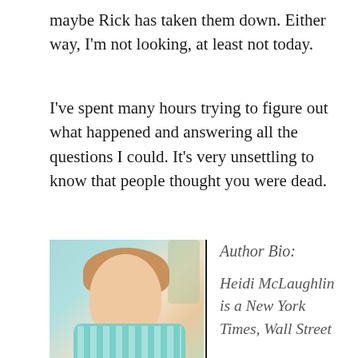maybe Rick has taken them down. Either way, I'm not looking, at least not today.
I've spent many hours trying to figure out what happened and answering all the questions I could. It's very unsettling to know that people thought you were dead.
[Figure (photo): Photo of author Heidi McLaughlin, a smiling woman with long reddish-brown hair wearing a teal patterned top, outdoors with palm trees in the background.]
Author Bio:

Heidi McLaughlin is a New York Times, Wall Street